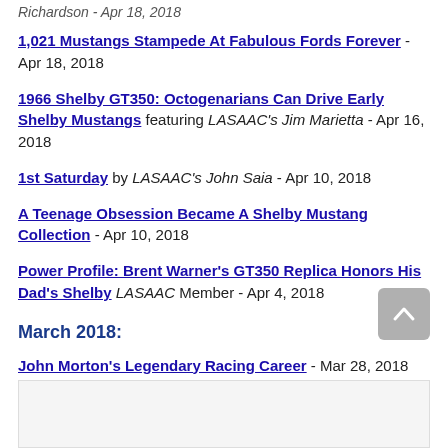Richardson - Apr 18, 2018
1,021 Mustangs Stampede At Fabulous Fords Forever - Apr 18, 2018
1966 Shelby GT350: Octogenarians Can Drive Early Shelby Mustangs featuring LASAAC's Jim Marietta - Apr 16, 2018
1st Saturday by LASAAC's John Saia - Apr 10, 2018
A Teenage Obsession Became A Shelby Mustang Collection - Apr 10, 2018
Power Profile: Brent Warner's GT350 Replica Honors His Dad's Shelby LASAAC Member - Apr 4, 2018
March 2018:
John Morton's Legendary Racing Career - Mar 28, 2018
John Morton: Grand Marshall For Classic Motorsports Mitty - Mar 22, 2018
Shelbys Take Over The Las Vegas Strip - Mar 19, 2018